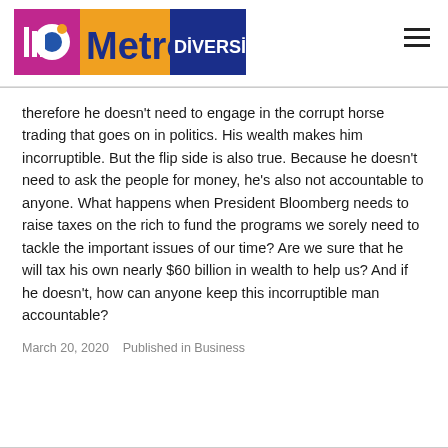[Figure (logo): Metro Diversity logo with stylized MP icon on left and Metro Diversity text on right with orange and dark blue background]
therefore he doesn't need to engage in the corrupt horse trading that goes on in politics. His wealth makes him incorruptible. But the flip side is also true. Because he doesn't need to ask the people for money, he's also not accountable to anyone. What happens when President Bloomberg needs to raise taxes on the rich to fund the programs we sorely need to tackle the important issues of our time? Are we sure that he will tax his own nearly $60 billion in wealth to help us? And if he doesn't, how can anyone keep this incorruptible man accountable?
March 20, 2020    Published in Business